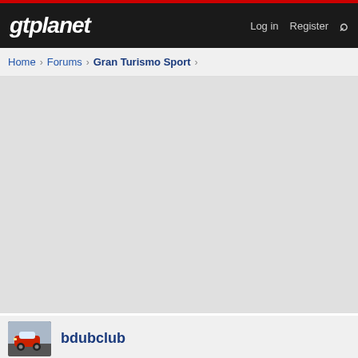gtplanet — Log in   Register
Home > Forums > Gran Turismo Sport >
[Figure (screenshot): Large gray empty content area of a web forum page]
bdubclub